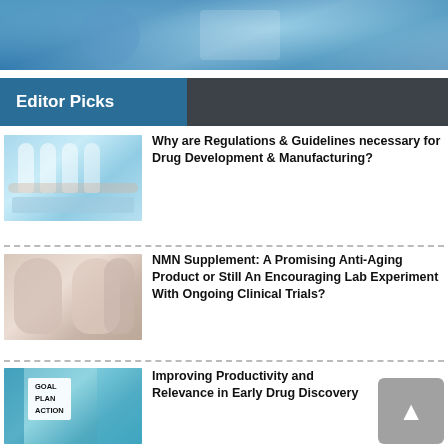[Figure (photo): Medical/lab photo showing person in blue gloves or lab coat, teal/blue toned]
Editor Picks
[Figure (photo): Pharmaceutical pills and glass vials on blue background]
Why are Regulations & Guidelines necessary for Drug Development & Manufacturing?
[Figure (photo): Woman holding face/skin product masks for anti-aging]
NMN Supplement: A Promising Anti-Aging Product or Still An Encouraging Lab Experiment With Ongoing Clinical Trials?
[Figure (photo): Hands holding lightbox sign reading GOAL PLAN ACTION with teal background]
Improving Productivity and Relevance in Early Drug Discovery